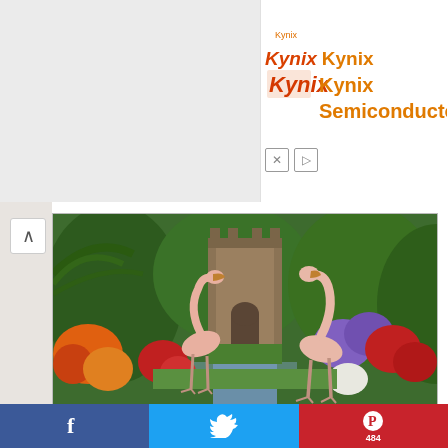[Figure (screenshot): Kynix Semiconductor advertisement banner with orange/red logo and text]
[Figure (photo): Vintage postcard-style image of Bok Tower Gardens showing two flamingos standing near a reflecting pool with colorful flowers and the stone tower building in the background surrounded by tropical greenery]
All images unless indicated via Bok Tower Gardens Flickr.
[Figure (screenshot): Social media share bar with Facebook, Twitter, and Pinterest buttons; Pinterest shows count of 484]